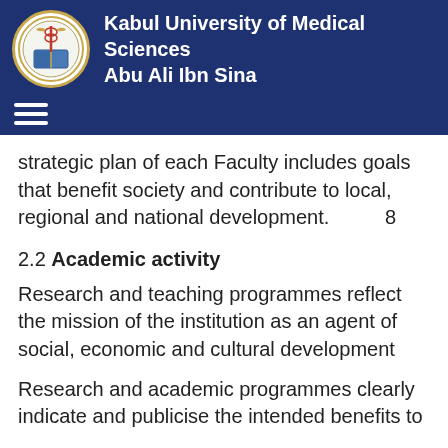Kabul University of Medical Sciences Abu Ali Ibn Sina
strategic plan of each Faculty includes goals that benefit society and contribute to local, regional and national development.        8
2.2 Academic activity
Research and teaching programmes reflect the mission of the institution as an agent of social, economic and cultural development
Research and academic programmes clearly indicate and publicise the intended benefits to